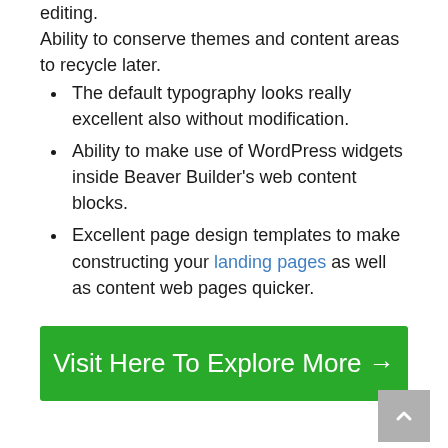editing.
Ability to conserve themes and content areas to recycle later.
The default typography looks really excellent also without modification.
Ability to make use of WordPress widgets inside Beaver Builder’s web content blocks.
Excellent page design templates to make constructing your landing pages as well as content web pages quicker.
Visit Here To Explore More →